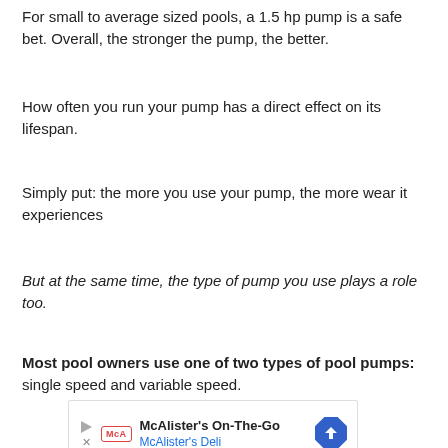For small to average sized pools, a 1.5 hp pump is a safe bet. Overall, the stronger the pump, the better.
How often you run your pump has a direct effect on its lifespan.
Simply put: the more you use your pump, the more wear it experiences
But at the same time, the type of pump you use plays a role too.
Most pool owners use one of two types of pool pumps: single speed and variable speed.
[Figure (other): Advertisement for McAlister's On-The-Go / McAlister's Deli with logo and navigation arrow icon]